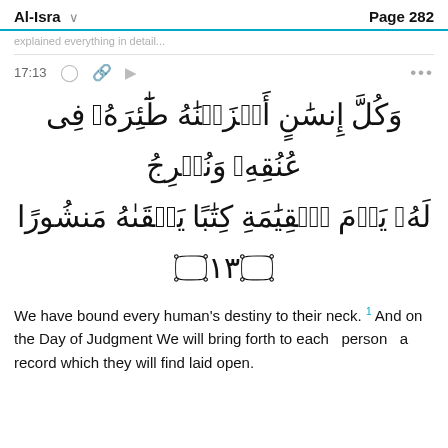Al-Isra  Page 282
explained everything in detail...
17:13
وَكُلَّ إِنسَٰنٍ أَلْزَمْنَٰهُ طَٰٓئِرَهُۥ فِى عُنُقِهِۦ ۖ وَنُخْرِجُ لَهُۥ يَوْمَ ٱلْقِيَٰمَةِ كِتَٰبًا يَلْقَىٰهُ مَنشُورًا ﴿١٣﴾
We have bound every human's destiny to their neck. And on the Day of Judgment We will bring forth to each person a record which they will find laid open.